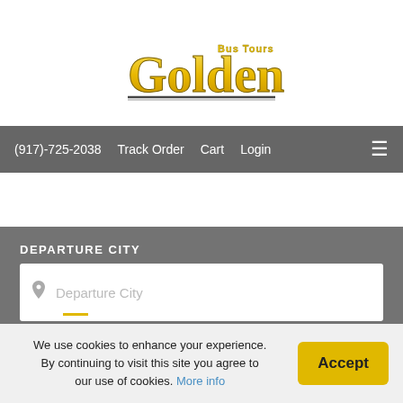[Figure (logo): Golden Bus Tours logo with stylized yellow and gold text on white background]
(917)-725-2038   Track Order   Cart   Login
DEPARTURE CITY
Departure City (input placeholder)
DEPARTURE DATE
We use cookies to enhance your experience. By continuing to visit this site you agree to our use of cookies. More info
Accept